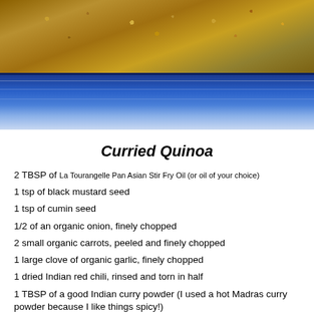[Figure (photo): Close-up photo of curried quinoa dish in a blue decorative bowl with intricate patterns, showing golden-brown quinoa mixed with vegetables]
Curried Quinoa
2 TBSP of La Tourangelle Pan Asian Stir Fry Oil (or oil of your choice)
1 tsp of black mustard seed
1 tsp of cumin seed
1/2 of an organic onion, finely chopped
2 small organic carrots, peeled and finely chopped
1 large clove of organic garlic, finely chopped
1 dried Indian red chili, rinsed and torn in half
1 TBSP of a good Indian curry powder (I used a hot Madras curry powder because I like things spicy!)
1 TBSP of chili powder